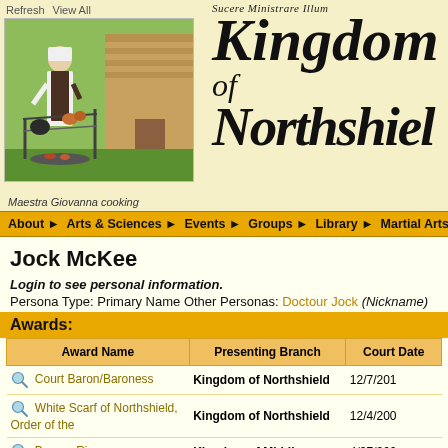[Figure (photo): Photo of Maestra Giovanna cooking over an outdoor fire with cooking equipment on a rack, with a log building in the background]
Maestra Giovanna cooking
[Figure (logo): Kingdom of Northshield blackletter/Gothic script logo with text 'Sucere Ministrare Illum' above]
Refresh   View All
About ▶   Arts & Sciences ▶   Events ▶   Groups ▶   Library ▶   Martial Arts ▶   N
Jock McKee
Login to see personal information.
Persona Type: Primary Name Other Personas: Doctour Jock (Nickname)
Awards:
| Award Name | Presenting Branch | Court Date |
| --- | --- | --- |
| Court Baron/Baroness | Kingdom of Northshield | 12/7/201 |
| White Scarf of Northshield, Order of the | Kingdom of Northshield | 12/4/200 |
| Bronze Ring | Kingdom of Middle | 4/27/200 |
| Glove, Award of the | Kingdom of Northshield | 4/13/201 |